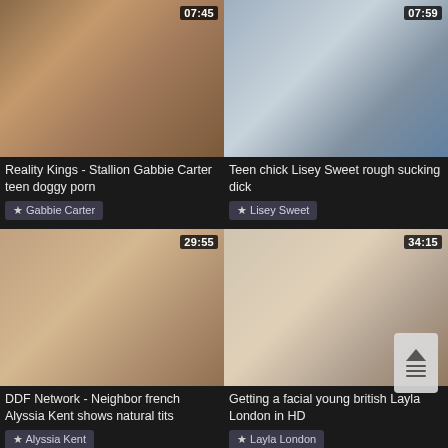[Figure (screenshot): Video thumbnail for Reality Kings - Stallion Gabbie Carter teen doggy porn, duration 07:45]
Reality Kings - Stallion Gabbie Carter teen doggy porn
★ Gabbie Carter
[Figure (screenshot): Video thumbnail for Teen chick Lisey Sweet rough sucking dick, duration 07:59]
Teen chick Lisey Sweet rough sucking dick
★ Lisey Sweet
[Figure (screenshot): Video thumbnail for DDF Network - Neighbor french Alyssia Kent shows natural tits, duration 29:55]
DDF Network - Neighbor french Alyssia Kent shows natural tits
★ Alyssia Kent
[Figure (screenshot): Video thumbnail for Getting a facial young british Layla London in HD, duration 34:15]
Getting a facial young british Layla London in HD
★ Layla London
[Figure (screenshot): Partial video thumbnail at bottom left, duration 07:57]
[Figure (screenshot): Partial video thumbnail at bottom right, duration 07:00]